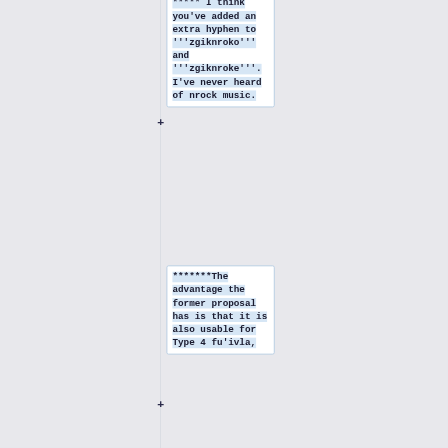***** I think you've added an extra hyphen to '''zgiknroko''' and '''zgiknroke'''. I've never heard of nrock music.
*******The advantage the former proposal has is that it is also usable for Type 4 fu'ivla,